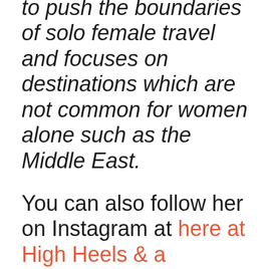to push the boundaries of solo female travel and focuses on destinations which are not common for women alone such as the Middle East.
You can also follow her on Instagram at here at High Heels & a Backpack